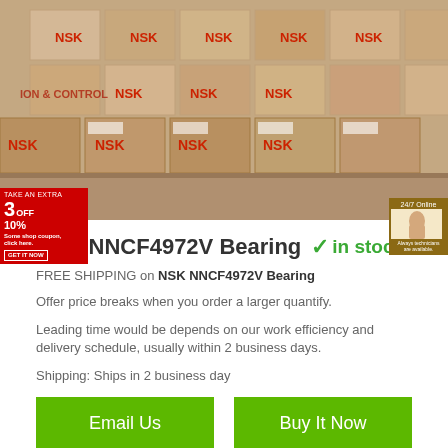[Figure (photo): Warehouse shelves stacked with NSK branded cardboard boxes]
NSK NNCF4972V Bearing ✓in stock
FREE SHIPPING on NSK NNCF4972V Bearing
Offer price breaks when you order a larger quantify.
Leading time would be depends on our work efficiency and delivery schedule, usually within 2 business days.
Shipping: Ships in 2 business day
Email Us
Buy It Now
1) Quality Assurance: Official Authorized For 100% Guaranteed As Described